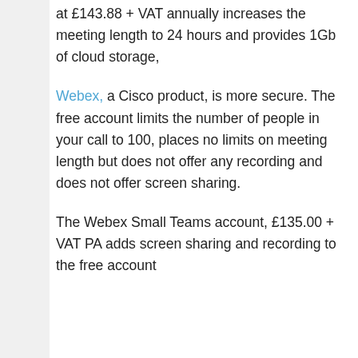at £143.88 + VAT annually increases the meeting length to 24 hours and provides 1Gb of cloud storage,
Webex, a Cisco product, is more secure. The free account limits the number of people in your call to 100, places no limits on meeting length but does not offer any recording and does not offer screen sharing.
The Webex Small Teams account, £135.00 + VAT PA adds screen sharing and recording to the free account